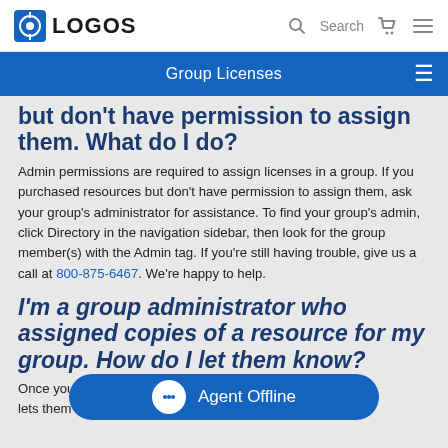LOGOS | Search
Group Licenses
but don't have permission to assign them. What do I do?
Admin permissions are required to assign licenses in a group. If you purchased resources but don't have permission to assign them, ask your group's administrator for assistance. To find your group's admin, click Directory in the navigation sidebar, then look for the group member(s) with the Admin tag. If you're still having trouble, give us a call at 800-875-6467. We're happy to help.
I'm a group administrator who assigned copies of a resource for my group. How do I let them know?
Once you've given your group members access, they'll receive a notification... lets them know how to get started.